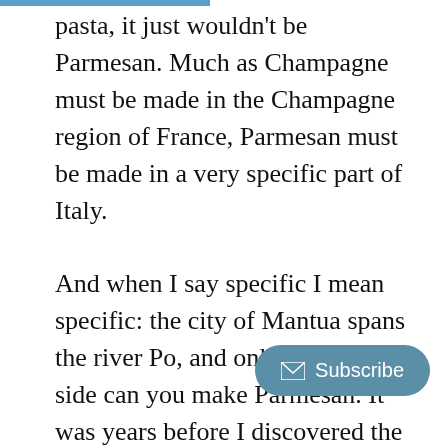pasta, it just wouldn't be Parmesan. Much as Champagne must be made in the Champagne region of France, Parmesan must be made in a very specific part of Italy.

And when I say specific I mean specific: the city of Mantua spans the river Po, and only on the south side can you make Parmesan. It was years before I discovered the existence of a vegetarian substitute for Pa which, for legal reasons, is known as